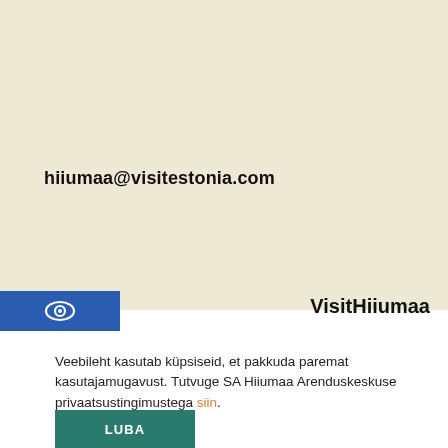hiiumaa@visitestonia.com
[Figure (logo): Blue rectangle with white eye/visit Estonia logo icon]
VisitHiiumaa
Veebileht kasutab küpsiseid, et pakkuda paremat kasutajamugavust. Tutvuge SA Hiiumaa Arenduskeskuse privaatsustingimustega siin.
LUBA